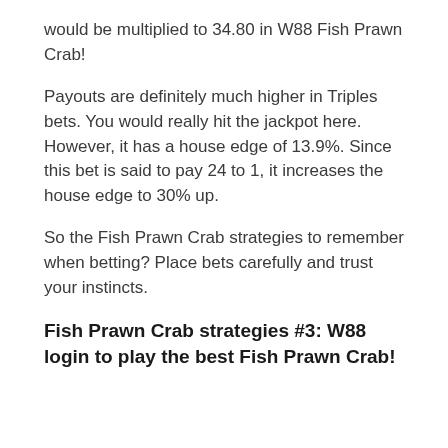would be multiplied to 34.80 in W88 Fish Prawn Crab!
Payouts are definitely much higher in Triples bets. You would really hit the jackpot here. However, it has a house edge of 13.9%. Since this bet is said to pay 24 to 1, it increases the house edge to 30% up.
So the Fish Prawn Crab strategies to remember when betting? Place bets carefully and trust your instincts.
Fish Prawn Crab strategies #3: W88 login to play the best Fish Prawn Crab!